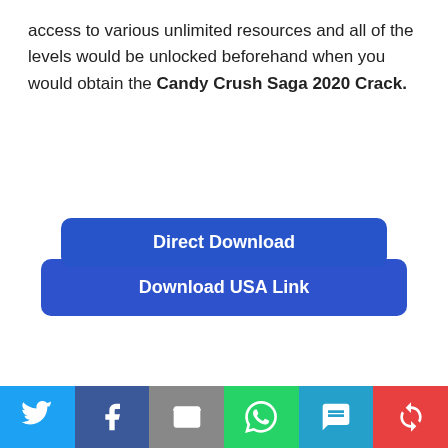access to various unlimited resources and all of the levels would be unlocked beforehand when you would obtain the Candy Crush Saga 2020 Crack.
[Figure (other): Two overlapping blue download buttons: 'Direct Download' (top, smaller, rounded) and 'Download USA Link' (bottom, larger, rounded), centered on the page]
| Reviewer | Aalex Jordan |
| Review Date | 2022-06-12 |
| Reviewed Item | Article |
[Figure (other): Social sharing bar with six buttons: Twitter (blue bird), Facebook (dark blue f), Email (grey envelope), WhatsApp (green phone), SMS (blue sms bubble), Share (red circular arrows)]